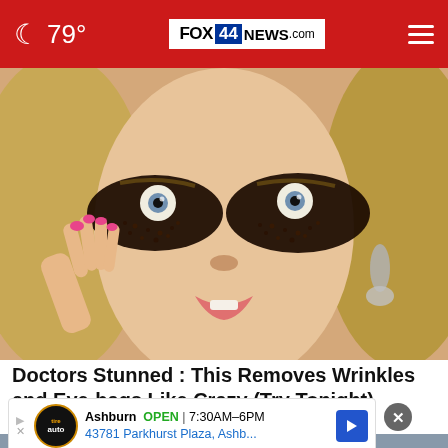🌙 79° | FOX 44 NEWS.com | ☰
[Figure (photo): Close-up photo of a blonde woman with dramatic dark coffee-ground eye makeup applied under her eyes, holding fingers to her face with bright pink nails, wearing dangling earrings]
Doctors Stunned : This Removes Wrinkles and Eye-bags Like Crazy (Try Tonight)
Trending Stories
[Figure (photo): Partial image of street scene visible behind ad banner]
Ashburn  OPEN  7:30AM–6PM  43781 Parkhurst Plaza, Ashb...